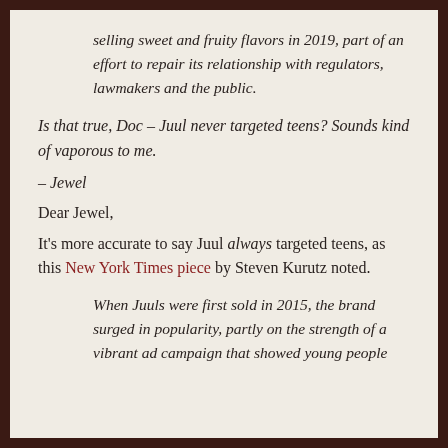selling sweet and fruity flavors in 2019, part of an effort to repair its relationship with regulators, lawmakers and the public.
Is that true, Doc – Juul never targeted teens? Sounds kind of vaporous to me.
– Jewel
Dear Jewel,
It's more accurate to say Juul always targeted teens, as this New York Times piece by Steven Kurutz noted.
When Juuls were first sold in 2015, the brand surged in popularity, partly on the strength of a vibrant ad campaign that showed young people